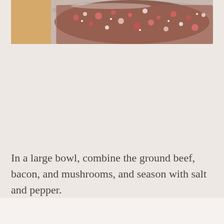[Figure (photo): Close-up photo of a glass bowl containing ground beef mixed with red ingredients (bacon bits, possibly red pepper flakes), viewed from slightly above, on a light wooden surface.]
In a large bowl, combine the ground beef, bacon, and mushrooms, and season with salt and pepper.